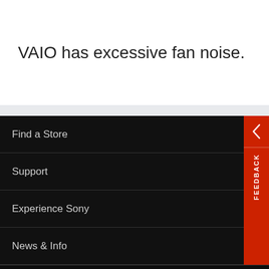VAIO has excessive fan noise.
Find a Store
Support
Experience Sony
News & Info
Africa  EN
[Figure (other): Feedback tab on right side with red background and back arrow]